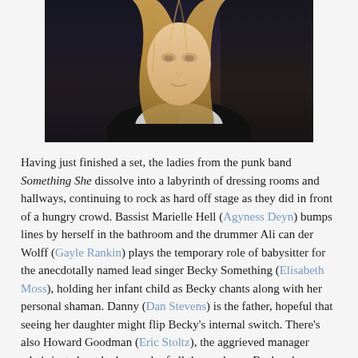[Figure (photo): Photo of a blonde woman, partial view, top portion of image cropped into frame from top of page]
Having just finished a set, the ladies from the punk band Something She dissolve into a labyrinth of dressing rooms and hallways, continuing to rock as hard off stage as they did in front of a hungry crowd. Bassist Marielle Hell (Agyness Deyn) bumps lines by herself in the bathroom and the drummer Ali can der Wolff (Gayle Rankin) plays the temporary role of babysitter for the anecdotally named lead singer Becky Something (Elisabeth Moss), holding her infant child as Becky chants along with her personal shaman. Danny (Dan Stevens) is the father, hopeful that seeing her daughter might flip Becky's internal switch. There's also Howard Goodman (Eric Stoltz), the aggrieved manager who's just about had enough of all the madness. Becky always wants more though. She thirsts for attention with her craven, hungry heart, indulging in the excess of fame and drugs and booze until she has to vomit. Brief flashbacks show us happier times when magazine covers were thrilling, and Her Smell introduces us to these women at their most depleted. There's nothing left to give.
[Figure (photo): Photo of a person, dark toned, partial view at bottom of page]